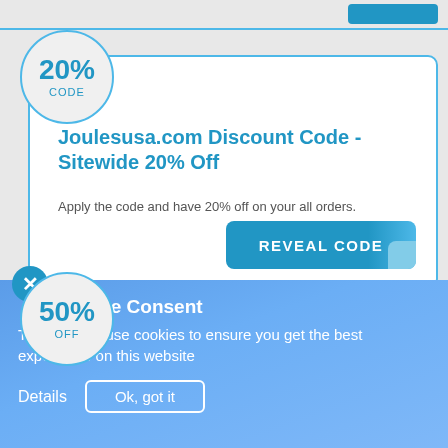[Figure (other): 20% CODE circular badge with blue border on gray background]
Joulesusa.com Discount Code - Sitewide 20% Off
Apply the code and have 20% off on your all orders.
REVEAL CODE
[Figure (other): 50% OFF circular badge with blue border on gray background]
Cookie Consent
This website use cookies to ensure you get the best experience on this website
Details   Ok, got it